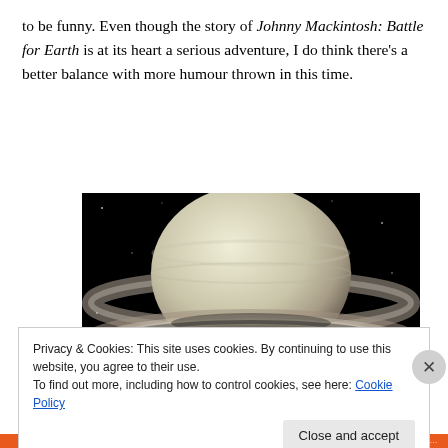to be funny. Even though the story of Johnny Mackintosh: Battle for Earth is at its heart a serious adventure, I do think there's a better balance with more humour thrown in this time.
[Figure (photo): Close-up photograph of Saturn and its rings against a black space background]
Privacy & Cookies: This site uses cookies. By continuing to use this website, you agree to their use. To find out more, including how to control cookies, see here: Cookie Policy